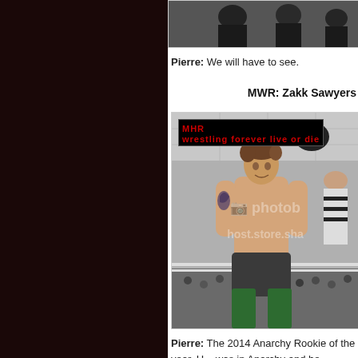[Figure (photo): Top partial photo of people in dark clothing, cropped at top of page]
Pierre: We will have to see.
MWR: Zakk Sawyers
[Figure (photo): Shirtless wrestler with tattoo on shoulder, wearing dark trunks and green boots, in a wrestling ring with a referee in background and crowd visible. MHR watermark logo in top left. Photobucket watermark overlay in center.]
Pierre: The 2014 Anarchy Rookie of the year. He was in Anarchy and he stepped up huge. A hard worker in and out of the ring and really appreciates his spot on th...